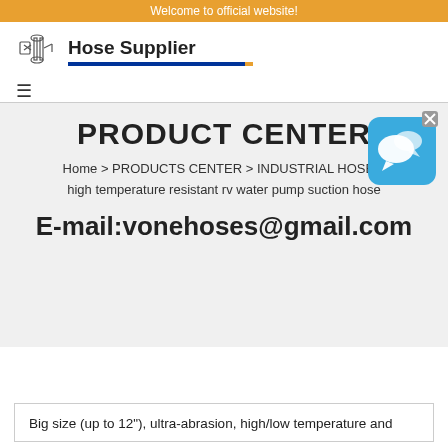Welcome to official website!
[Figure (logo): Hose Supplier logo with industrial hose equipment icon and blue underline with orange accent]
≡
PRODUCT CENTER
Home > PRODUCTS CENTER > INDUSTRIAL HOSE > high temperature resistant rv water pump suction hose
E-mail:vonehoses@gmail.com
[Figure (illustration): Blue chat bubble icon with speech bubbles, with X close button]
Big size (up to 12"), ultra-abrasion, high/low temperature and